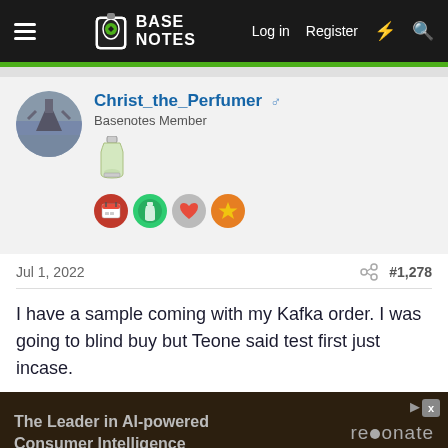BASE NOTES — Log in  Register
Christ_the_Perfumer ♂
Basenotes Member
Jul 1, 2022   #1,278
I have a sample coming with my Kafka order. I was going to blind buy but Teone said test first just incase.
[Figure (screenshot): Ad banner: The Leader in AI-powered Consumer Intelligence — resonate]